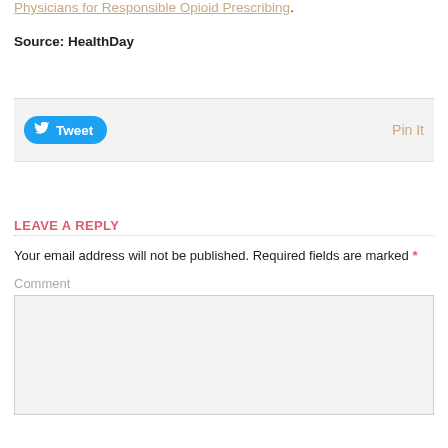Physicians for Responsible Opioid Prescribing.
Source: HealthDay
[Figure (screenshot): Social sharing bar with Tweet button and Pin It link]
LEAVE A REPLY
Your email address will not be published. Required fields are marked *
Comment